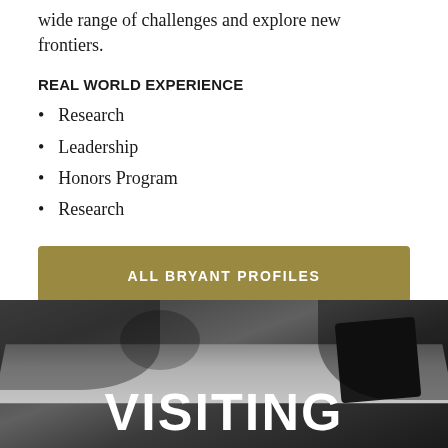wide range of challenges and explore new frontiers.
REAL WORLD EXPERIENCE
Research
Leadership
Honors Program
Research
ALL BRYANT PROFILES
[Figure (photo): Dark photo of a desk workspace with monitor/equipment, overlaid with large white text 'VISITING']